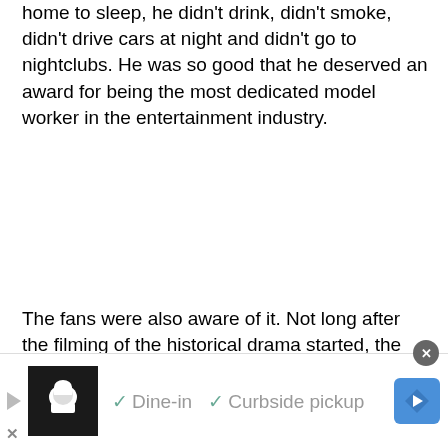home to sleep, he didn't drink, didn't smoke, didn't drive cars at night and didn't go to nightclubs. He was so good that he deserved an award for being the most dedicated model worker in the entertainment industry.
The fans were also aware of it. Not long after the filming of the historical drama started, the frontliners who squatted outside the filming site changed their gifts from flashy things such as flowers and coffee to ginseng pills, vitamins, plaster patches and other nourishing items.
The fans with the…
[Figure (other): Advertisement banner at bottom of screen: shows a restaurant/food service ad with chef logo, 'Dine-in' and 'Curbside pickup' options with checkmarks, navigation arrow icon, play button and close (X) button.]